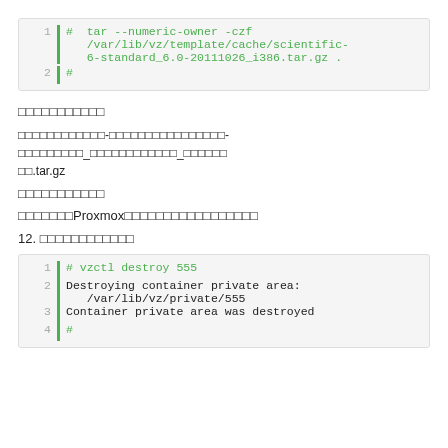[Figure (screenshot): Code block showing tar command: line 1: # tar --numeric-owner -czf /var/lib/vz/template/cache/scientific-6-standard_6.0-20111026_i386.tar.gz . line 2: #]
□□□□□□□□□□□
□□□□□□□□□□□□-□□□□□□□□□□□□□□□□-□□□□□□□□□_□□□□□□□□□□□□_□□□□□□.tar.gz
□□□□□□□□□□□
□□□□□□□Proxmox□□□□□□□□□□□□□□□□□
12. □□□□□□□□□□□□
[Figure (screenshot): Code block: line 1: # vzctl destroy 555 (green), line 2: Destroying container private area: /var/lib/vz/private/555, line 3: Container private area was destroyed, line 4: # (green)]